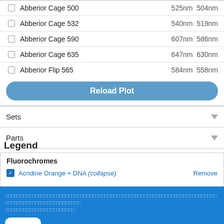Abberior Cage 500   525nm  504nm
Abberior Cage 532   540nm  519nm
Abberior Cage 590   607nm  586nm
Abberior Cage 635   647nm  630nm
Abberior Flip 565   584nm  558nm
Reload Plot
Sets
Parts
Legend
Fluorochromes
Acridine Orange + DNA (collapse)   Remove